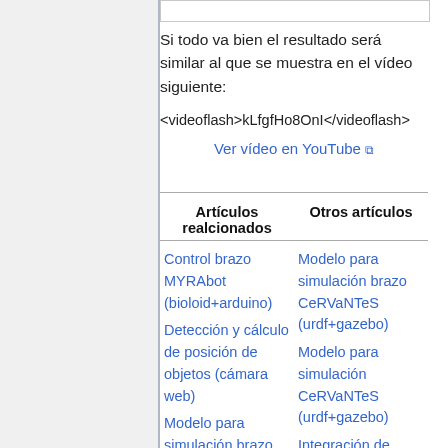Si todo va bien el resultado será similar al que se muestra en el vídeo siguiente:
<videoflash>kLfgfHo8OnI</videoflash>
Ver vídeo en YouTube ↗
| Artículos realcionados | Otros artículos |
| --- | --- |
| Control brazo MYRAbot (bioloid+arduino)
Detección y cálculo de posición de objetos (cámara web)
Modelo para simulación brazo MYRAbot | Modelo para simulación brazo CeRVaNTeS (urdf+gazebo)
Modelo para simulación CeRVaNTeS (urdf+gazebo)
Integración de CeRVaNTeS en |